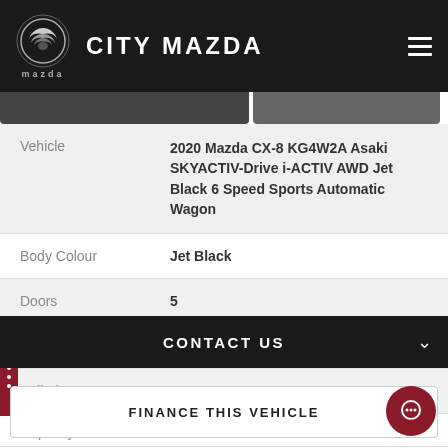CITY MAZDA
| Field | Value |
| --- | --- |
| Vehicle | 2020 Mazda CX-8 KG4W2A Asaki SKYACTIV-Drive i-ACTIV AWD Jet Black 6 Speed Sports Automatic Wagon |
| Body Colour | Jet Black |
| Doors | 5 |
| Seats | 7 |
| Cylinders | 4 |
CONTACT US
FINANCE THIS VEHICLE